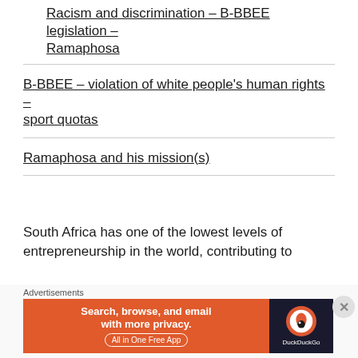Racism and discrimination – B-BBEE legislation – Ramaphosa
B-BBEE – violation of white people's human rights – sport quotas
Ramaphosa and his mission(s)
South Africa has one of the lowest levels of entrepreneurship in the world, contributing to